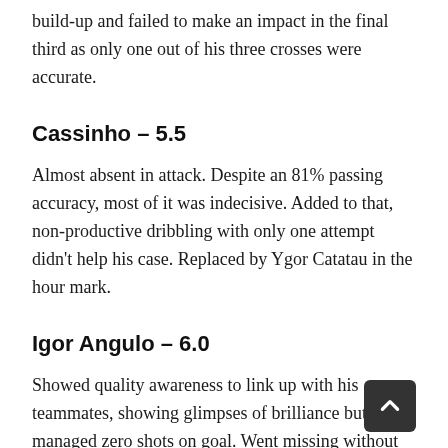build-up and failed to make an impact in the final third as only one out of his three crosses were accurate.
Cassinho – 5.5
Almost absent in attack. Despite an 81% passing accuracy, most of it was indecisive. Added to that, non-productive dribbling with only one attempt didn't help his case. Replaced by Ygor Catatau in the hour mark.
Igor Angulo – 6.0
Showed quality awareness to link up with his teammates, showing glimpses of brilliance but managed zero shots on goal. Went missing without supply and support from midfield and wings.
Vikram Pratap Singh – 6.0